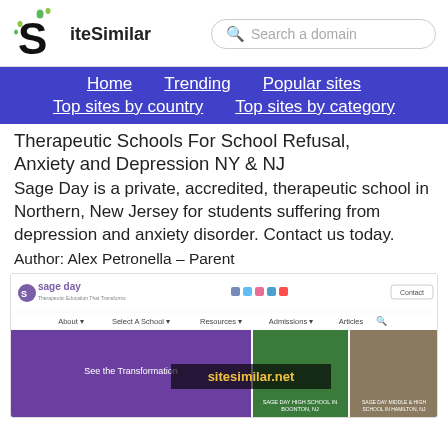SiteSimilar
Therapeutic Schools For School Refusal, Anxiety and Depression NY & NJ
Sage Day is a private, accredited, therapeutic school in Northern, New Jersey for students suffering from depression and anxiety disorder. Contact us today.
Author: Alex Petronella – Parent
[Figure (screenshot): Screenshot of the Sage Day website homepage showing logo, navigation bar, and preview images of school locations including Sage Day High School in Boonton NJ and Sage Day Middle & High School in Hamilton NJ. Watermark: sitesimilar.net]